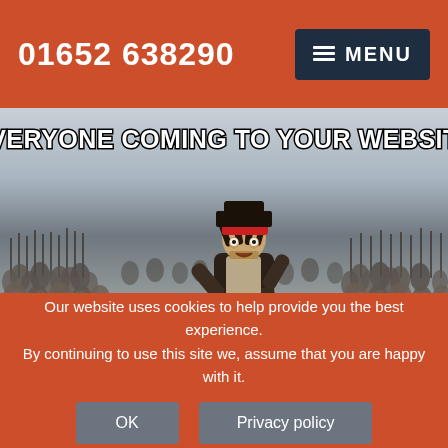01652 638290  MENU
[Figure (illustration): Internet meme image showing a pirate character (Jack Sparrow) running from a large crowd. Top text: 'EVERYONE COMING TO YOUR WEBSITE'. Bottom text: 'YOU STRUGGLING TO TRACK THE DATA'.]
Our website uses cookies to help provide you the best experience. By continuing to use this site we, assume that you are happy with it.
OK   Privacy policy